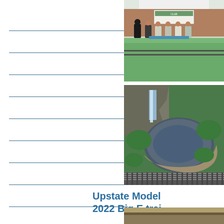[Figure (photo): Group of people standing behind a model train layout display outdoors under a canopy]
[Figure (photo): Aerial view of a model train layout showing a lake or pond scene with waterfall and surrounding greenery and tracks]
Upstate Model 2022 Big E trai
[Figure (photo): Partial view of a model train exhibit, bottom of page]